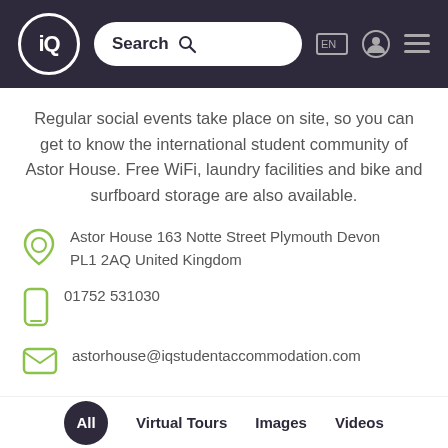[Figure (screenshot): Website header with iQ logo, search bar, language selector, user icon, and hamburger menu on dark purple background]
Regular social events take place on site, so you can get to know the international student community of Astor House. Free WiFi, laundry facilities and bike and surfboard storage are also available.
Astor House 163 Notte Street Plymouth Devon PL1 2AQ United Kingdom
01752 531030
astorhouse@iqstudentaccommodation.com
All  Virtual Tours  Images  Videos